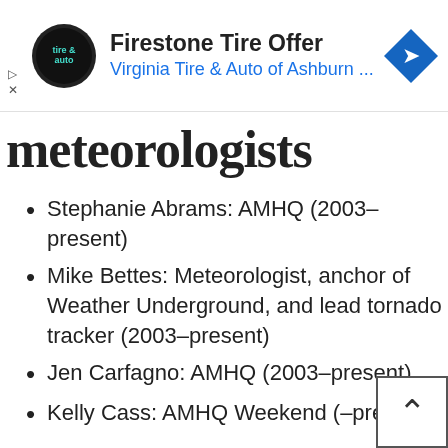[Figure (screenshot): Advertisement banner for Firestone Tire Offer from Virginia Tire & Auto of Ashburn with circular logo and blue arrow icon]
meteorologists
Stephanie Abrams: AMHQ (2003–present)
Mike Bettes: Meteorologist, anchor of Weather Underground, and lead tornado tracker (2003–present)
Jen Carfagno: AMHQ (2003–present)
Kelly Cass: AMHQ Weekend (–present)